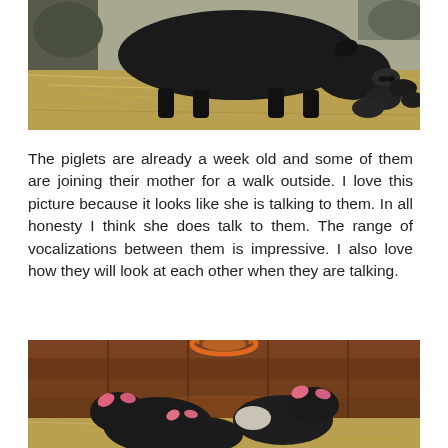[Figure (photo): A large black sow (mother pig) outdoors in hay/straw with small dark piglets beside her.]
The piglets are already a week old and some of them are joining their mother for a walk outside. I love this picture because it looks like she is talking to them. In all honesty I think she does talk to them. The range of vocalizations between them is impressive. I also love how they will look at each other when they are talking.
[Figure (photo): Several small black piglets with pink ears inside a wooden barn structure with hay on the floor and an orange heat lamp visible at the top.]